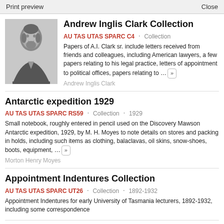Print preview   Close
Andrew Inglis Clark Collection
AU TAS UTAS SPARC C4 · Collection
Papers of A.I. Clark sr. include letters received from friends and colleagues, including American lawyers, a few papers relating to his legal practice, letters of appointment to political offices, papers relating to ... »
Andrew Inglis Clark
Antarctic expedition 1929
AU TAS UTAS SPARC RS59 · Collection · 1929
Small notebook, roughly entered in pencil used on the Discovery Mawson Antarctic expedition, 1929, by M. H. Moyes to note details on stores and packing in holds, including such items as clothing, balaclavas, oil skins, snow-shoes, boots, equipment, ... »
Morton Henry Moyes
Appointment Indentures Collection
AU TAS UTAS SPARC UT26 · Collection · 1892-1932
Appointment Indentures for early University of Tasmania lecturers, 1892-1932, including some correspondence